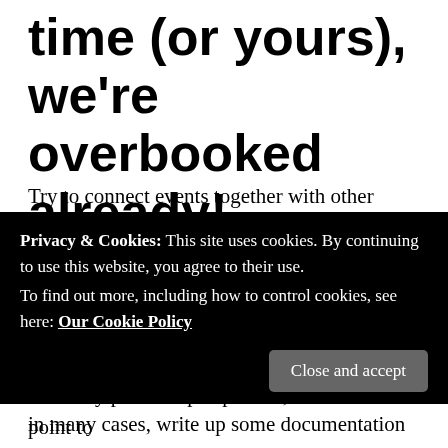time (or yours), we're overbooked already!
Try to connect events together with other companies and provide them as such. Give multiple reasons to come to conferences, meet ups or otherwise get out the door. If there isn't reasonable reason to physically be somewhere, make it an online event, chat or some other type of communication. Better yet, in many cases, write up some documentation and let us developers RTFM! But whatever marketing departments, advocates
Privacy & Cookies: This site uses cookies. By continuing to use this website, you agree to their use. To find out more, including how to control cookies, see here: Our Cookie Policy
Close and accept
From my personal perspective, I make it a point to